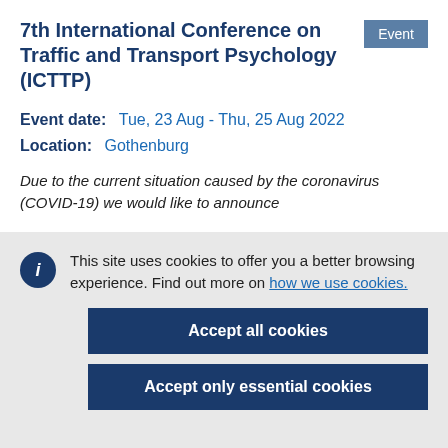7th International Conference on Traffic and Transport Psychology (ICTTP)
Event date:   Tue, 23 Aug - Thu, 25 Aug 2022
Location:   Gothenburg
Due to the current situation caused by the coronavirus (COVID-19) we would like to announce
This site uses cookies to offer you a better browsing experience. Find out more on how we use cookies.
Accept all cookies
Accept only essential cookies